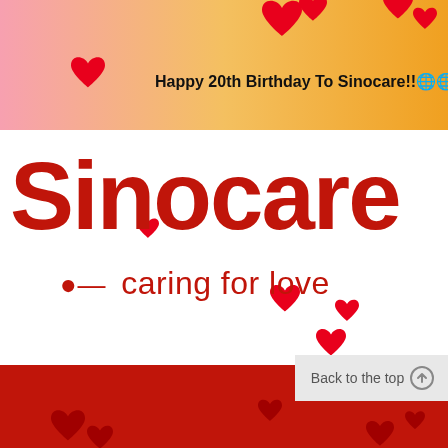[Figure (illustration): Sinocare 20th birthday promotional banner with pink-to-yellow gradient top section, white middle section with Sinocare logo and tagline 'caring for love', and red bottom section. Decorated with red heart icons throughout. Includes 'Back to the top' button.]
Happy 20th Birthday To Sinocare!!🌐🌐
Sinocare
• caring for love
Back to the top ⬆